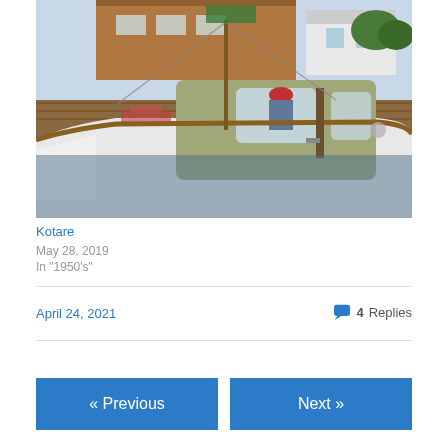[Figure (photo): A classic wooden boat docked at a marina. The boat has a white hull with a wooden trim stripe and an olive/grey cabin with large rounded windows. A person in a red hat is visible inside the cabin. The background shows a wooden dock, other boats, and marina buildings.]
Kotare
May 28, 2019
In "1950's"
April 24, 2021
4 Replies
« Previous
Next »